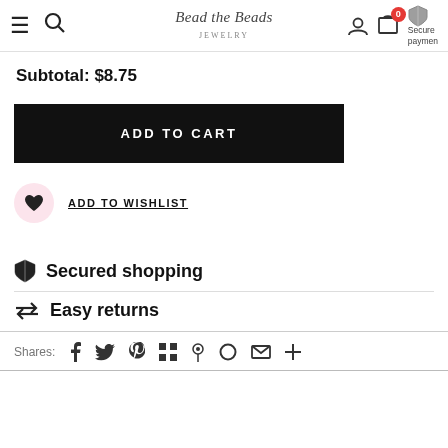Bead the Beads Jewelry — navigation bar with hamburger, search, logo, user, cart (0), Secure payment
Subtotal: $8.75
ADD TO CART
ADD TO WISHLIST
Secured shopping
Easy returns
Shares: